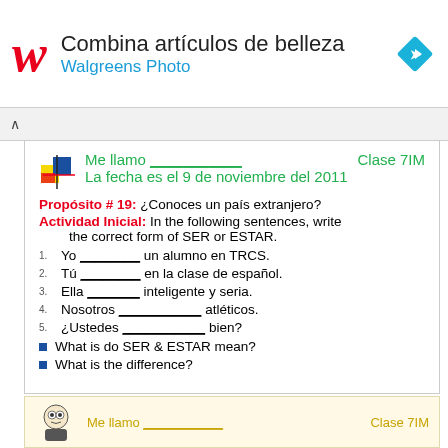[Figure (logo): Walgreens W logo in red italic, ad banner with text 'Combina artículos de belleza' and 'Walgreens Photo', blue navigation arrow icon]
Me llamo ___________ Clase 7IM
La fecha es el 9 de noviembre del 2011
Propósito # 19: ¿Conoces un país extranjero?
Actividad Inicial: In the following sentences, write the correct form of SER or ESTAR.
1. Yo ________ un alumno en TRCS.
2. Tú ________ en la clase de español.
3. Ella _______ inteligente y seria.
4. Nosotros ___________ atléticos.
5. ¿Ustedes ___________ bien?
■ What is do SER & ESTAR mean?
■ What is the difference?
[Figure (screenshot): Bottom thumbnail showing partial repeat of worksheet with cartoon character and 'Me llamo ___ Clase 7IM' in gold/yellow text]